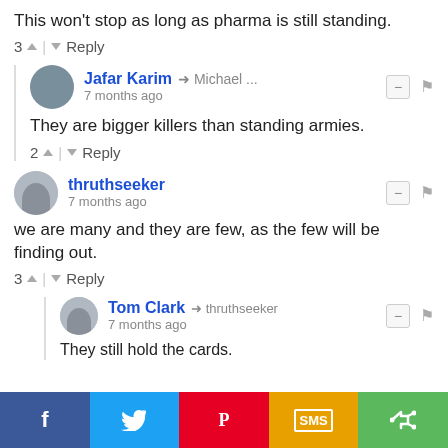This won't stop as long as pharma is still standing.
3 ▲ | ▼ Reply
Jafar Karim → Michael ... • 7 months ago
They are bigger killers than standing armies.
2 ▲ | ▼ Reply
thruthseeker • 7 months ago
we are many and they are few, as the few will be finding out.
3 ▲ | ▼ Reply
Tom Clark → thruthseeker • 7 months ago
They still hold the cards.